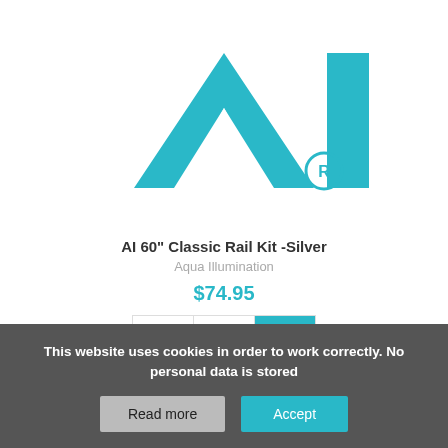[Figure (logo): Aqua Illumination (AI) logo in teal/turquoise color with a stylized A and I letterforms and registered trademark symbol]
AI 60" Classic Rail Kit -Silver
Aqua Illumination
$74.95
[Figure (other): Three action buttons: heart/wishlist, compare (asterisk), and shopping cart (teal background)]
This website uses cookies in order to work correctly. No personal data is stored
Read more
Accept